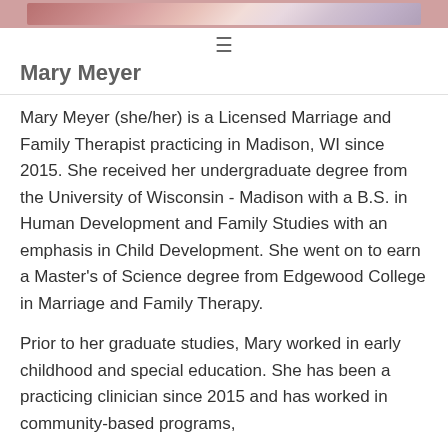[Figure (photo): Partial view of a decorative floral photo strip at top of page]
≡
Mary Meyer
Mary Meyer (she/her) is a Licensed Marriage and Family Therapist practicing in Madison, WI since 2015. She received her undergraduate degree from the University of Wisconsin - Madison with a B.S. in Human Development and Family Studies with an emphasis in Child Development. She went on to earn a Master's of Science degree from Edgewood College in Marriage and Family Therapy.
Prior to her graduate studies, Mary worked in early childhood and special education. She has been a practicing clinician since 2015 and has worked in community-based programs,